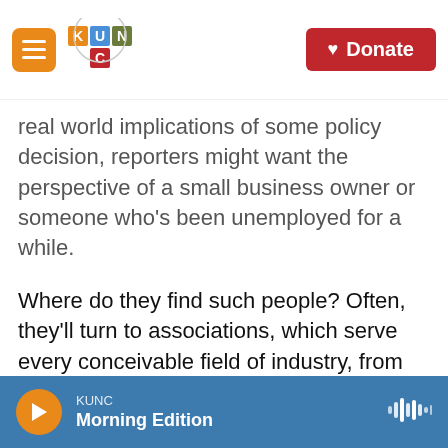KUNC — Donate
real world implications of some policy decision, reporters might want the perspective of a small business owner or someone who's been unemployed for a while.
Where do they find such people? Often, they'll turn to associations, which serve every conceivable field of industry, from snack food makers to mortgage bankers to tattoo artists.
Associations are themselves home to many oft-quoted sources. But their PR person often will volunteer to find a "real person" to illustrate a story, even if they aren't asked.
KUNC — Morning Edition